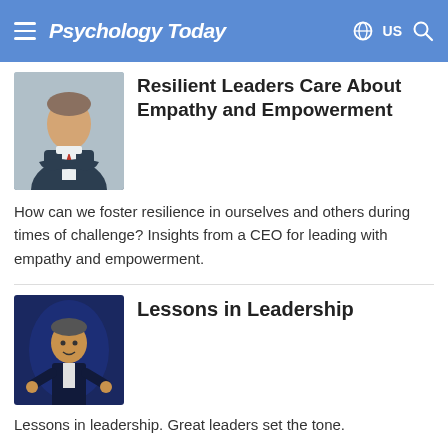Psychology Today — US
Resilient Leaders Care About Empathy and Empowerment
How can we foster resilience in ourselves and others during times of challenge? Insights from a CEO for leading with empathy and empowerment.
Lessons in Leadership
Lessons in leadership. Great leaders set the tone.
Leadership Lessons from Serial Entrepreneur Eli Fathi
Lessons in leadership from MindBridge...